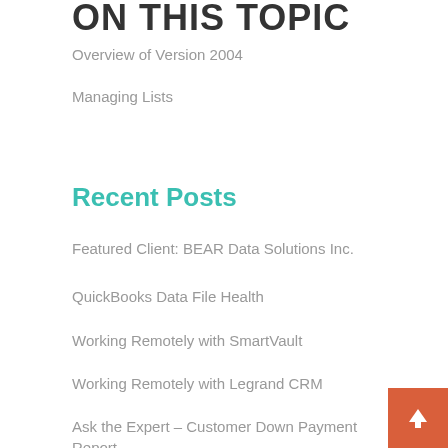ON THIS TOPIC
Overview of Version 2004
Managing Lists
Recent Posts
Featured Client: BEAR Data Solutions Inc.
QuickBooks Data File Health
Working Remotely with SmartVault
Working Remotely with Legrand CRM
Ask the Expert – Customer Down Payment Report